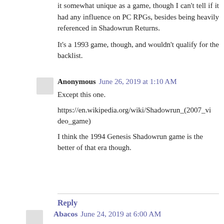it somewhat unique as a game, though I can't tell if it had any influence on PC RPGs, besides being heavily referenced in Shadowrun Returns.
It's a 1993 game, though, and wouldn't qualify for the backlist.
Anonymous  June 26, 2019 at 1:10 AM
Except this one.
https://en.wikipedia.org/wiki/Shadowrun_(2007_video_game)
I think the 1994 Genesis Shadowrun game is the better of that era though.
Reply
Abacos  June 24, 2019 at 6:00 AM